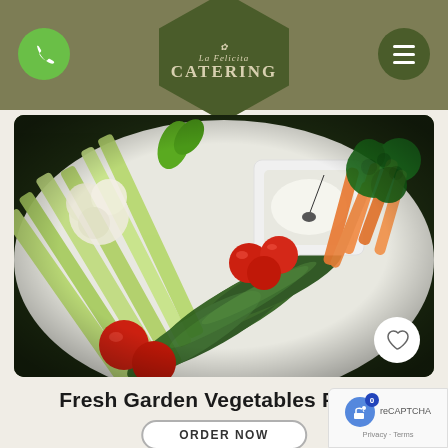[Figure (logo): La Felicita Catering logo in a dark green hexagonal/shield shape with stylized text]
[Figure (photo): Fresh garden vegetable platter with celery, cucumbers, cherry tomatoes, carrots, broccoli, cauliflower, and a white dipping sauce bowl on a white plate]
Fresh Garden Vegetables Platter
ORDER NOW